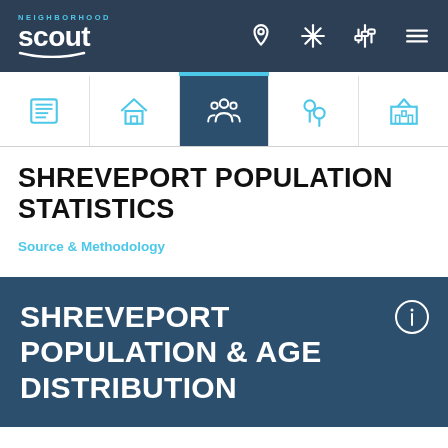Neighborhood Scout — navigation bar
[Figure (screenshot): Sub-navigation tab bar with 5 icons: list/overview, house/real estate, people/population (active/selected), crime pin, and school/building icons]
SHREVEPORT POPULATION STATISTICS
Source & Methodology
SHREVEPORT POPULATION & AGE DISTRIBUTION